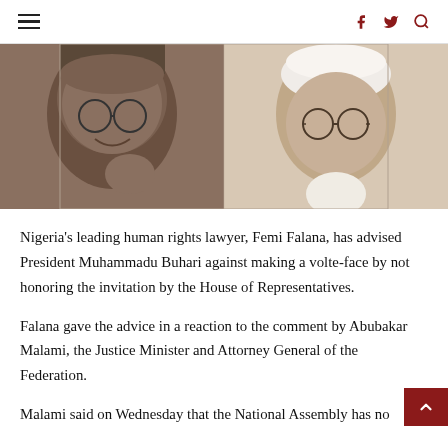≡  f  🐦  🔍
[Figure (photo): Side-by-side portrait photos of two Nigerian men — on the left, a man with round glasses smiling; on the right, a man with round glasses wearing a white cap, with a serious expression. Both appear to be middle-aged to older Black men.]
Nigeria's leading human rights lawyer, Femi Falana, has advised President Muhammadu Buhari against making a volte-face by not honoring the invitation by the House of Representatives.
Falana gave the advice in a reaction to the comment by Abubakar Malami, the Justice Minister and Attorney General of the Federation.
Malami said on Wednesday that the National Assembly has no